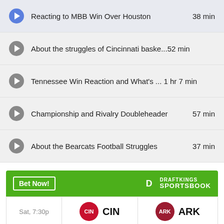Reacting to MBB Win Over Houston  38 min
About the struggles of Cincinnati baske...52 min
Tennessee Win Reaction and What's ... 1 hr 7 min
Championship and Rivalry Doubleheader  57 min
About the Bearcats Football Struggles  37 min
|  | CIN | ARK |
| --- | --- | --- |
| Sat, 7:30p | CIN | ARK |
| SPREAD | +7 (-110) | -7 (-110) |
| MONEY |  |  |